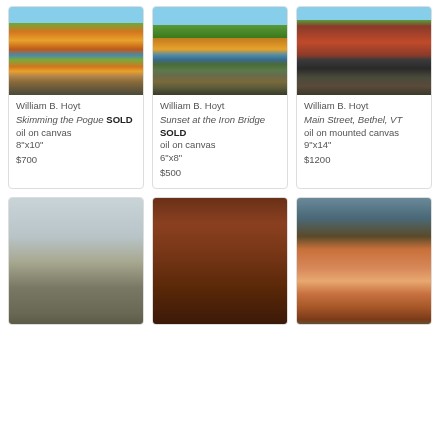[Figure (photo): Autumn foliage landscape with lake reflection – Skimming the Pogue by William B. Hoyt]
William B. Hoyt
Skimming the Pogue SOLD
oil on canvas
8"x10"
$700
[Figure (photo): River scene with autumn hills and iron bridge – Sunset at the Iron Bridge by William B. Hoyt]
William B. Hoyt
Sunset at the Iron Bridge
SOLD
oil on canvas
6"x8"
$500
[Figure (photo): Red brick Main Street buildings – Main Street, Bethel, VT by William B. Hoyt]
William B. Hoyt
Main Street, Bethel, VT
oil on mounted canvas
9"x14"
$1200
[Figure (photo): Bird and seed pod still life painting]
[Figure (photo): Antique compass on red barn wood]
[Figure (photo): Hereford cow portrait painting]